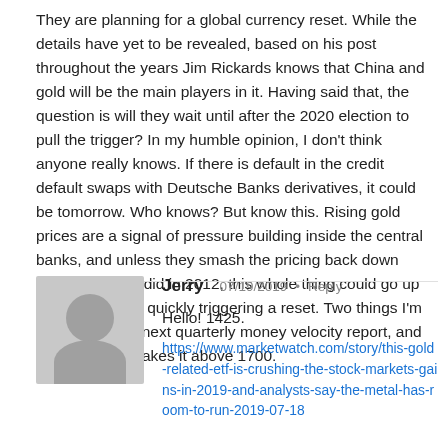They are planning for a global currency reset. While the details have yet to be revealed, based on his post throughout the years Jim Rickards knows that China and gold will be the main players in it. Having said that, the question is will they wait until after the 2020 election to pull the trigger? In my humble opinion, I don't think anyone really knows. If there is default in the credit default swaps with Deutsche Banks derivatives, it could be tomorrow. Who knows? But know this. Rising gold prices are a signal of pressure building inside the central banks, and unless they smash the pricing back down again, like they did in 2012, this whole thing could go up in smoke rather quickly triggering a reset. Two things I'm looking at. The next quarterly money velocity report, and whether gold makes it above 1700.
Jerry  07/19/2019 • Reply
Hello! 1425.
https://www.marketwatch.com/story/this-gold-related-etf-is-crushing-the-stock-markets-gains-in-2019-and-analysts-say-the-metal-has-room-to-run-2019-07-18